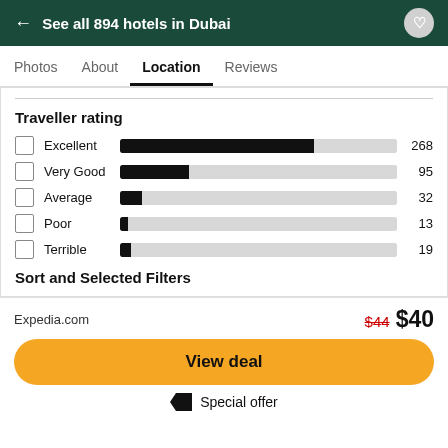← See all 894 hotels in Dubai
Traveller rating
[Figure (bar-chart): Traveller rating]
Sort and Selected Filters
Expedia.com
$44  $40
View deal
Special offer